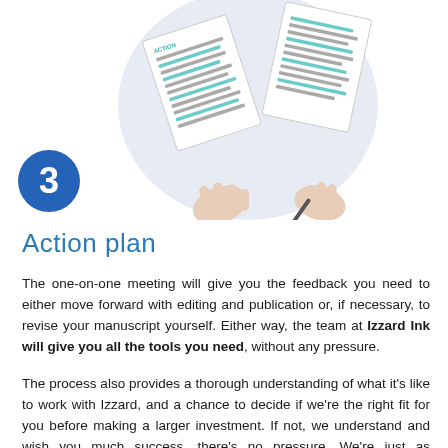[Figure (illustration): Two hands holding and comparing documents/manuscripts with teal-highlighted lines, over a light blue-grey circular background. One hand holds a pen. Documents are labeled 'ACTION' at the top.]
3
Action plan
The one-on-one meeting will give you the feedback you need to either move forward with editing and publication or, if necessary, to revise your manuscript yourself. Either way, the team at Izzard Ink will give you all the tools you need, without any pressure.
The process also provides a thorough understanding of what it's like to work with Izzard, and a chance to decide if we're the right fit for you before making a larger investment. If not, we understand and wish you much success, there's no pressure. We're just as interested in making sure it's a good fit and that authors are